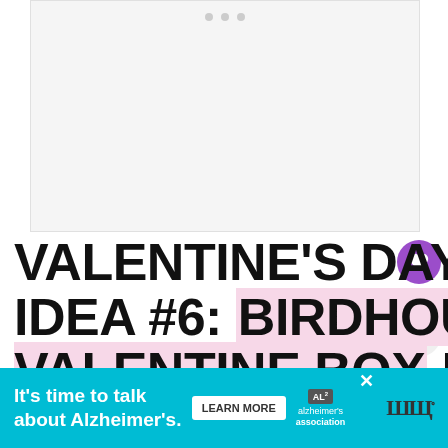[Figure (photo): Image placeholder with dots/carousel indicator at top, white/light gray background, part of a slideshow]
VALENTINE'S DAY MAILBOX IDEA #6: BIRDHOUSE VALENTINE BOX FROM HAPPINESSISHOMEMADE
If you love tinkering with your Cricut Maker, you can... box.
[Figure (infographic): Ad banner: It's time to talk about Alzheimer's. LEARN MORE. Alzheimer's association logo. X close button.]